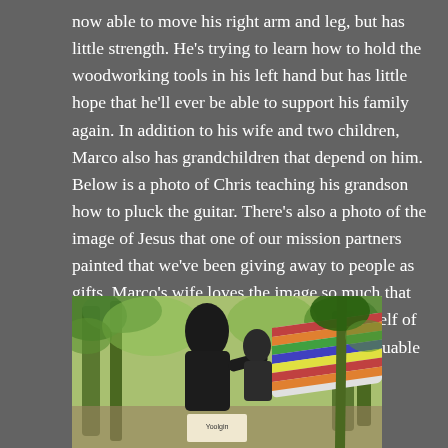now able to move his right arm and leg, but has little strength. He's trying to learn how to hold the woodworking tools in his left hand but has little hope that he'll ever be able to support his family again. In addition to his wife and two children, Marco also has grandchildren that depend on him. Below is a photo of Chris teaching his grandson how to pluck the guitar. There's also a photo of the image of Jesus that one of our mission partners painted that we've been giving away to people as gifts. Marco's wife loves the image so much that she immediately propped it up on the top shelf of the console which holds all of their most valuable possessions.
[Figure (photo): Outdoor scene with tropical trees and foliage in the background. A person in dark clothing is seated, with a colorful striped hammock visible on the right side. A white box with text is visible in the lower middle area.]